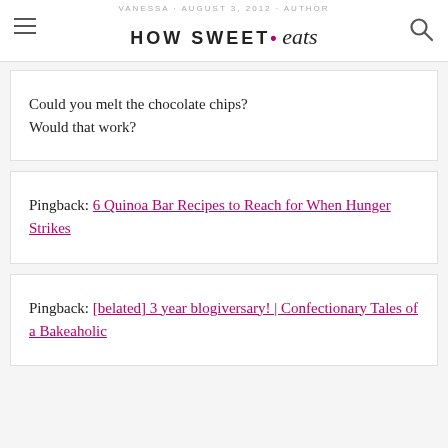HOW SWEET • eats
Could you melt the chocolate chips? Would that work?
Pingback: 6 Quinoa Bar Recipes to Reach for When Hunger Strikes
Pingback: [belated] 3 year blogiversary! | Confectionary Tales of a Bakeaholic